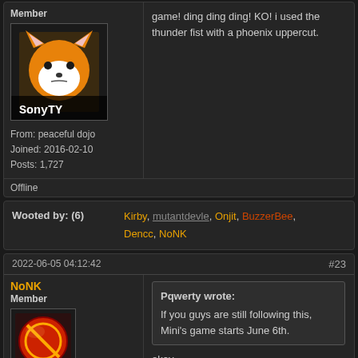Member
[Figure (photo): Avatar image of SonyTV - cartoon fox character with text 'SonyTY' on black background]
From: peaceful dojo
Joined: 2016-02-10
Posts: 1,727
Offline
game! ding ding ding! KO! i used the thunder fist with a phoenix uppercut.
Wooted by: (6)
Kirby, mutantdevle, Onjit, BuzzerBee, Dencc, NoNK
2022-06-05 04:12:42
#23
NoNK
Member
[Figure (photo): Avatar image - red circular prohibited sign icon on dark background]
Joined: 2019-07-13
Posts: 773
Offline
Pqwerty wrote:
If you guys are still following this, Mini's game starts June 6th.
okay